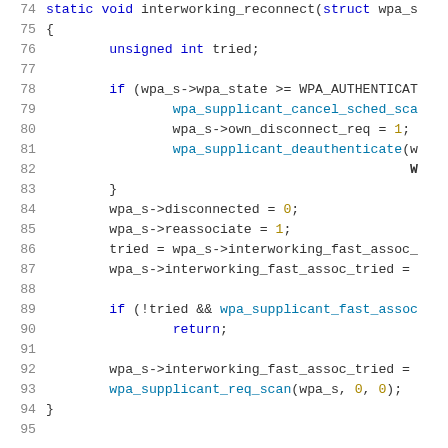[Figure (screenshot): Source code listing showing C function interworking_reconnect, lines 74-95, with syntax highlighting: line numbers in gray on left, keywords in blue, numeric literals in gold/olive, function calls in blue, identifiers in dark gray, on white background.]